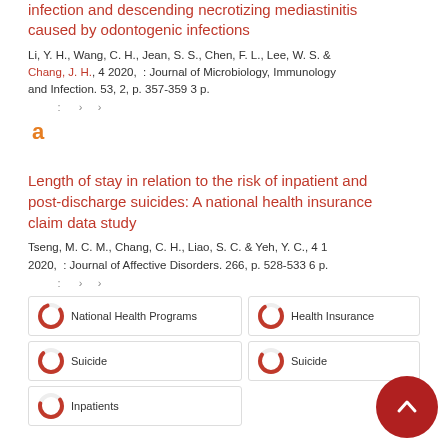infection and descending necrotizing mediastinitis caused by odontogenic infections
Li, Y. H., Wang, C. H., Jean, S. S., Chen, F. L., Lee, W. S. & Chang, J. H., 4 2020, : Journal of Microbiology, Immunology and Infection. 53, 2, p. 357-359 3 p.
: > >
[Figure (logo): Open access icon (orange letter a)]
Length of stay in relation to the risk of inpatient and post-discharge suicides: A national health insurance claim data study
Tseng, M. C. M., Chang, C. H., Liao, S. C. & Yeh, Y. C., 4 1 2020, : Journal of Affective Disorders. 266, p. 528-533 6 p.
: > >
National Health Programs
Health Insurance
Suicide
Suicide
Inpatients